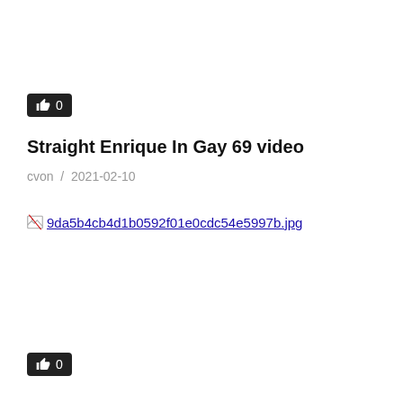[Figure (other): Like button showing thumbs up icon with count 0, dark background]
Straight Enrique In Gay 69 video
cvon / 2021-02-10
[Figure (other): Broken image placeholder with filename 9da5b4cb4d1b0592f01e0cdc54e5997b.jpg]
[Figure (other): Like button showing thumbs up icon with count 0, dark background]